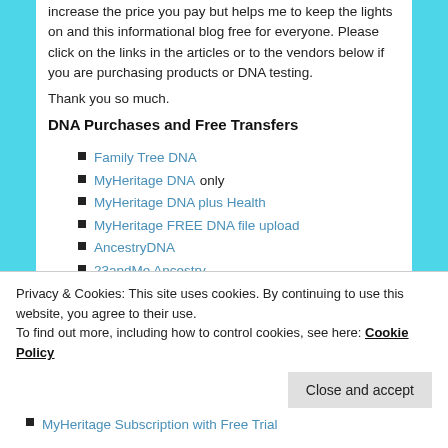increase the price you pay but helps me to keep the lights on and this informational blog free for everyone. Please click on the links in the articles or to the vendors below if you are purchasing products or DNA testing.
Thank you so much.
DNA Purchases and Free Transfers
Family Tree DNA
MyHeritage DNA only
MyHeritage DNA plus Health
MyHeritage FREE DNA file upload
AncestryDNA
23andMe Ancestry
MyHeritage Subscription with Free Trial
Privacy & Cookies: This site uses cookies. By continuing to use this website, you agree to their use.
To find out more, including how to control cookies, see here: Cookie Policy